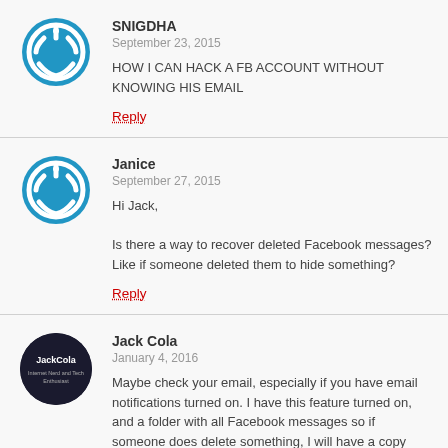SNIGDHA
September 23, 2015
HOW I CAN HACK A FB ACCOUNT WITHOUT KNOWING HIS EMAIL
Reply
Janice
September 27, 2015
Hi Jack,

Is there a way to recover deleted Facebook messages? Like if someone deleted them to hide something?
Reply
Jack Cola
January 4, 2016
Maybe check your email, especially if you have email notifications turned on. I have this feature turned on, and a folder with all Facebook messages so if someone does delete something, I will have a copy because Facebook has emailed